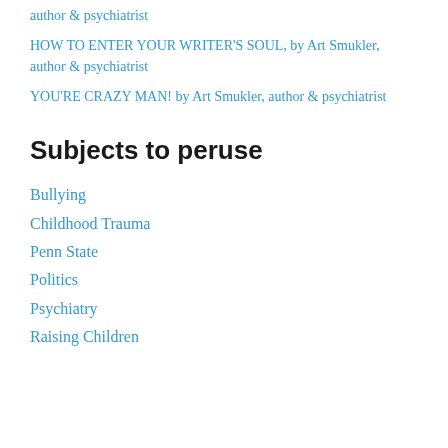author & psychiatrist
HOW TO ENTER YOUR WRITER'S SOUL, by Art Smukler, author & psychiatrist
YOU'RE CRAZY MAN! by Art Smukler, author & psychiatrist
Subjects to peruse
Bullying
Childhood Trauma
Penn State
Politics
Psychiatry
Raising Children